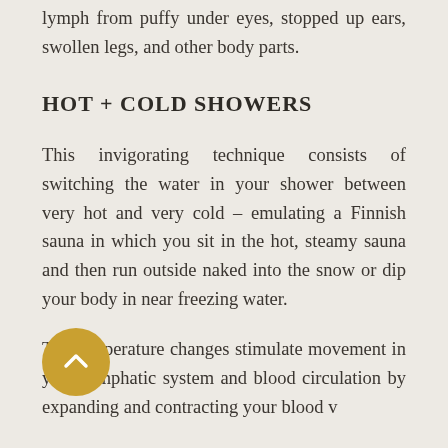lymph from puffy under eyes, stopped up ears, swollen legs, and other body parts.
HOT + COLD SHOWERS
This invigorating technique consists of switching the water in your shower between very hot and very cold – emulating a Finnish sauna in which you sit in the hot, steamy sauna and then run outside naked into the snow or dip your body in near freezing water.
The temperature changes stimulate movement in your lymphatic system and blood circulation by expanding and contracting...